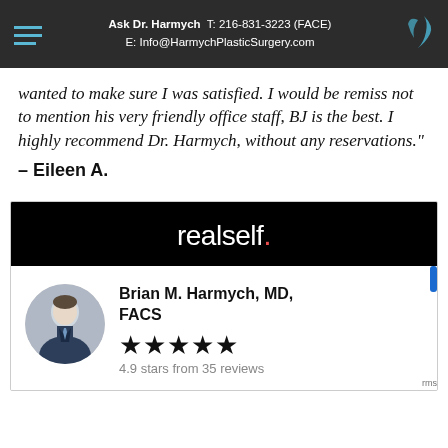Ask Dr. Harmych  T: 216-831-3223 (FACE)
E: Info@HarmychPlasticSurgery.com
wanted to make sure I was satisfied. I would be remiss not to mention his very friendly office staff, BJ is the best. I highly recommend Dr. Harmych, without any reservations."
– Eileen A.
[Figure (logo): RealSelf logo — white text 'realself.' with red period on black background, followed by a doctor profile card showing Brian M. Harmych, MD, FACS with 4.9 stars from 35 reviews]
Brian M. Harmych, MD, FACS
4.9 stars from 35 reviews